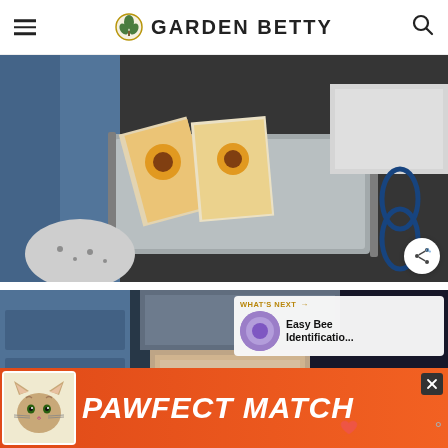GARDEN BETTY
[Figure (photo): Close-up of seed packets in a metal organizer/tray, showing sunflower seed packets with orange flowers, person in denim jeans visible, dark metal shelving in background with blue mugs]
[Figure (photo): Second photo of similar scene with seed boxes/packets, person handling cardboard box, blue walls/drawers in background]
WHAT'S NEXT → Easy Bee Identificatio...
[Figure (photo): Advertisement banner: PAWFECT MATCH with cat image, orange/red background]